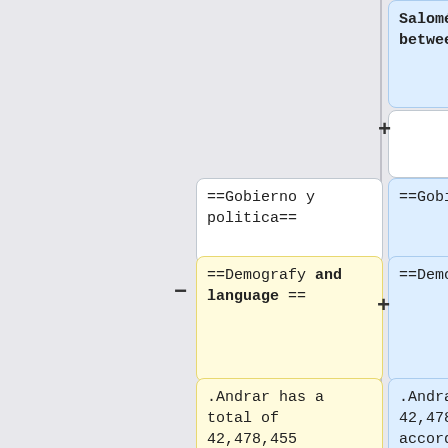Salomé, the climate is between hot and cold.
==Gobierno y politica==
==Gobierno y politica==
==Demografy and language ==
==Demografy ==
.Andrar has a total of 42,478,455 habitants according to the 2022 population census, between
.Andrar has a total of 42,478,455 habitants according to the 2020 population census, between